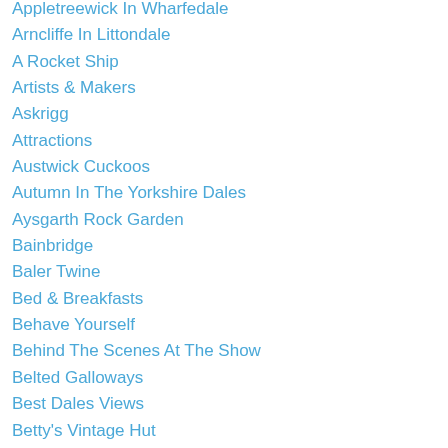Appletreewick In Wharfedale
Arncliffe In Littondale
A Rocket Ship
Artists & Makers
Askrigg
Attractions
Austwick Cuckoos
Autumn In The Yorkshire Dales
Aysgarth Rock Garden
Bainbridge
Baler Twine
Bed & Breakfasts
Behave Yourself
Behind The Scenes At The Show
Belted Galloways
Best Dales Views
Betty's Vintage Hut
Bilberrying
Birdwatching
Black Bull In Paradise
Bluebell Woods